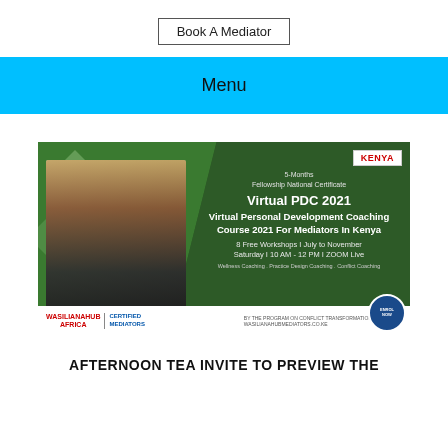Book A Mediator
Menu
[Figure (infographic): Promotional banner for Virtual Personal Development Coaching Course 2021 For Mediators In Kenya. Green background with diagonal shapes, photo of a smiling woman with laptop, text reading '5-Months Fellowship National Certificate', 'Virtual PDC 2021', 'Virtual Personal Development Coaching Course 2021 For Mediators In Kenya', '8 Free Workshops | July to November Saturday | 10 AM - 12 PM | ZOOM Live', 'Wellness Coaching . Practice Design Coaching . Conflict Coaching'. Bottom bar with WASILIANAHUB AFRICA CERTIFIED MEDIATORS logo and WASILIANAHUBMEDIATORS.CO.KE, KENYA badge top right, round mediator badge bottom right.]
AFTERNOON TEA INVITE TO PREVIEW THE